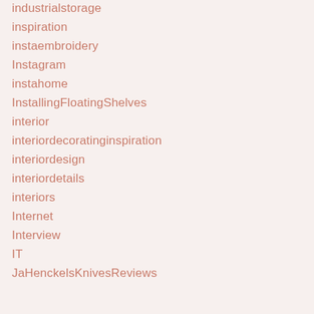industrialstorage
inspiration
instaembroidery
Instagram
instahome
InstallingFloatingShelves
interior
interiordecoratinginspiration
interiordesign
interiordetails
interiors
Internet
Interview
IT
JaHenckelsKnivesReviews